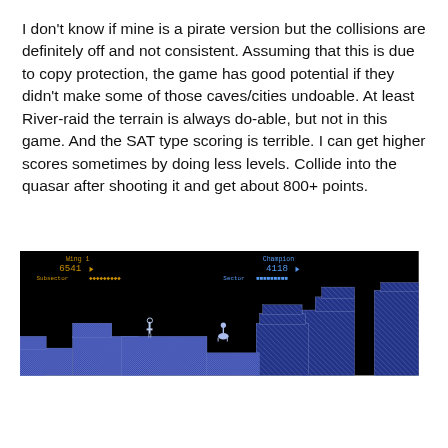I don't know if mine is a pirate version but the collisions are definitely off and not consistent. Assuming that this is due to copy protection, the game has good potential if they didn't make some of those caves/cities undoable. At least River-raid the terrain is always do-able, but not in this game. And the SAT type scoring is terrible. I can get higher scores sometimes by doing less levels. Collide into the quasar after shooting it and get about 800+ points.
[Figure (screenshot): Screenshot of a retro video game showing a side-scrolling platformer with blocky terrain made of hatched/patterned blocks in blue and white. HUD shows Wing 1 score 6541 on left and Champion score 4118 on right, with Subsector and Sector progress bars. Black background with platform structures.]